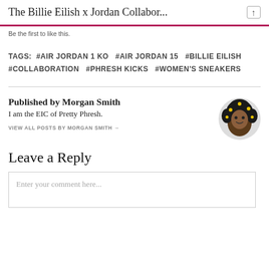The Billie Eilish x Jordan Collabor...
Be the first to like this.
TAGS: #AIR JORDAN 1 KO  #AIR JORDAN 15  #BILLIE EILISH  #COLLABORATION  #PHRESH KICKS  #WOMEN'S SNEAKERS
Published by Morgan Smith
I am the EIC of Pretty Phresh.
VIEW ALL POSTS BY MORGAN SMITH →
Leave a Reply
Enter your comment here...